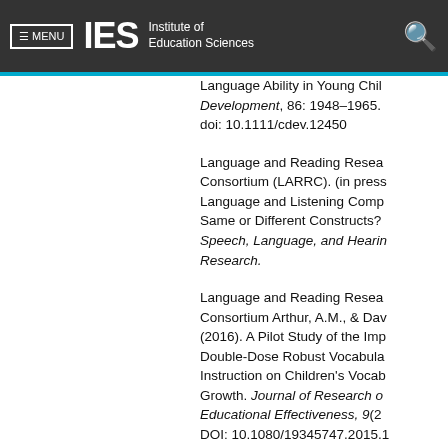MENU | IES Institute of Education Sciences
Language Ability in Young Children. Child Development, 86: 1948–1965. doi: 10.1111/cdev.12450
Language and Reading Research Consortium (LARRC). (in press). Language and Listening Comprehension: Same or Different Constructs? Journal of Speech, Language, and Hearing Research.
Language and Reading Research Consortium Arthur, A.M., & Davis, D. (2016). A Pilot Study of the Impact of Double-Dose Robust Vocabulary Instruction on Children's Vocabulary Growth. Journal of Research on Educational Effectiveness, 9(2). DOI: 10.1080/19345747.2015.1...